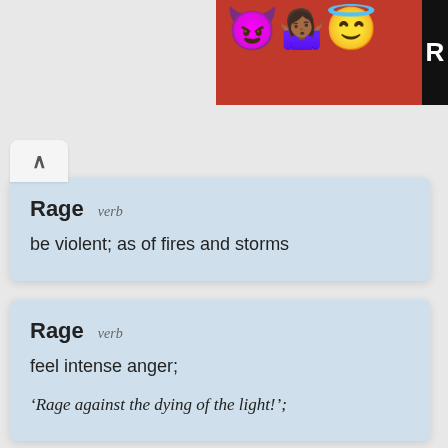[Figure (illustration): Banner ad with red background showing emoji characters: purple devil emoji, woman shrugging emoji, angel face emoji, and partial black letter R on right edge]
Rage  verb
be violent; as of fires and storms
Rage  verb
feel intense anger;
'Rage against the dying of the light!';